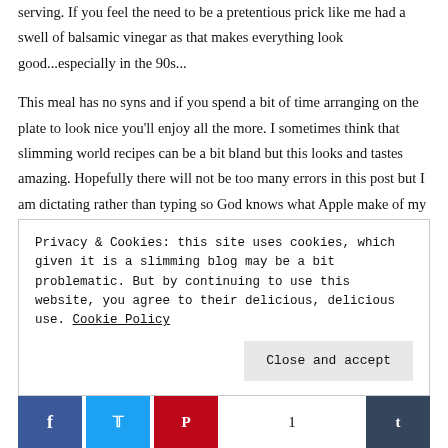serving. If you feel the need to be a pretentious prick like me had a swell of balsamic vinegar as that makes everything look good...especially in the 90s...
This meal has no syns and if you spend a bit of time arranging on the plate to look nice you'll enjoy all the more. I sometimes think that slimming world recipes can be a bit bland but this looks and tastes amazing. Hopefully there will not be too many errors in this post but I am dictating rather than typing so God knows what Apple make of my Geordie accent.
SIRI it...
Privacy & Cookies: this site uses cookies, which given it is a slimming blog may be a bit problematic. But by continuing to use this website, you agree to their delicious, delicious use. Cookie Policy
Close and accept